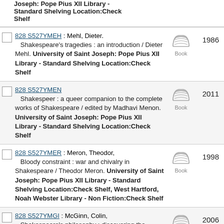Joseph: Pope Pius XII Library - Standard Shelving Location:Check Shelf
828 S527YMEH : Mehl, Dieter. Shakespeare's tragedies : an introduction / Dieter Mehl. University of Saint Joseph: Pope Pius XII Library - Standard Shelving Location:Check Shelf. Book. 1986.
828 S527YMEN. Shakespeer : a queer companion to the complete works of Shakespeare / edited by Madhavi Menon. University of Saint Joseph: Pope Pius XII Library - Standard Shelving Location:Check Shelf. Book. 2011.
828 S527YMER : Meron, Theodor, Bloody constraint : war and chivalry in Shakespeare / Theodor Meron. University of Saint Joseph: Pope Pius XII Library - Standard Shelving Location:Check Shelf, West Hartford, Noah Webster Library - Non Fiction:Check Shelf. Book. 1998.
828 S527YMGI : McGinn, Colin, Shakespeare's philosophy : discovering the meaning behind the plays / Colin McGinn. Avon Free Public Library - Adult Department:Check Shelf, Book. 2006.